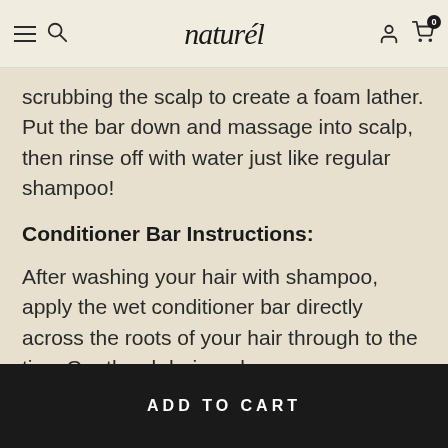naturél
scrubbing the scalp to create a foam lather. Put the bar down and massage into scalp, then rinse off with water just like regular shampoo!
Conditioner Bar Instructions:
After washing your hair with shampoo, apply the wet conditioner bar directly across the roots of your hair through to the tips. Gently rub hair and massage
ADD TO CART